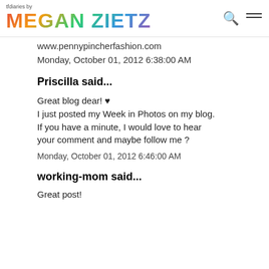tfdiaries by MEGAN ZIETZ
www.pennypincherfashion.com
Monday, October 01, 2012 6:38:00 AM
Priscilla said...
Great blog dear! ♥
I just posted my Week in Photos on my blog.
If you have a minute, I would love to hear your comment and maybe follow me ?
Monday, October 01, 2012 6:46:00 AM
working-mom said...
Great post!